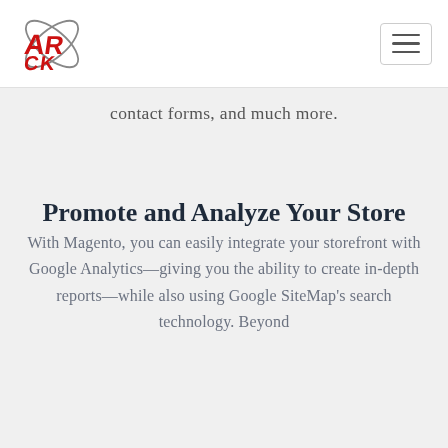[Figure (logo): Red stylized letters AR/CK with orbiting swoosh lines forming a star-like emblem]
contact forms, and much more.
Promote and Analyze Your Store
With Magento, you can easily integrate your storefront with Google Analytics—giving you the ability to create in-depth reports—while also using Google SiteMap's search technology. Beyond